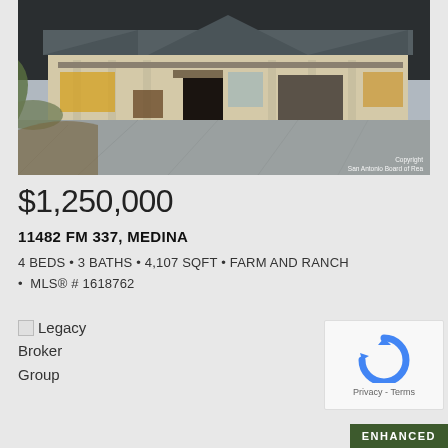[Figure (photo): Exterior photo of a ranch-style home with stone facade, covered porch with columns, and large concrete driveway, lit warmly at dusk]
$1,250,000
11482 FM 337, MEDINA
4 BEDS • 3 BATHS • 4,107 SQFT • FARM AND RANCH • MLS® # 1618762
Legacy Broker Group
Copyright
San Antonio Board of Rea
ENHANCED